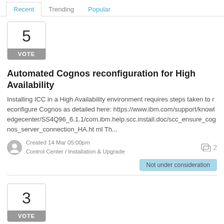Recent | Trending | Popular
[Figure (other): Vote box showing number 5 with VOTE label]
Automated Cognos reconfiguration for High Availability
Installing ICC in a High Availability environment requires steps taken to reconfigure Cognos as detailed here: https://www.ibm.com/support/knowledgecenter/SS4Q96_6.1.1/com.ibm.help.scc.install.doc/scc_ensure_cognos_server_connection_HA.html Th...
Created 14 Mar 05:00pm
Control Center / Installation & Upgrade
Not under consideration
[Figure (other): Vote box showing number 3 with VOTE label]
SCC should secure Cognos using the same certificates as